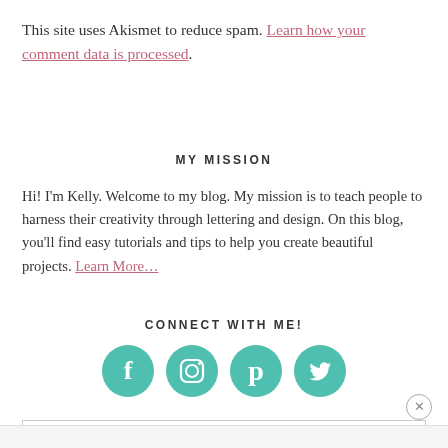This site uses Akismet to reduce spam. Learn how your comment data is processed.
MY MISSION
Hi! I'm Kelly. Welcome to my blog. My mission is to teach people to harness their creativity through lettering and design. On this blog, you'll find easy tutorials and tips to help you create beautiful projects. Learn More...
CONNECT WITH ME!
[Figure (illustration): Four teal circular social media icons for Facebook, Instagram, Pinterest, and Twitter]
[Figure (screenshot): Search this website input box with magnifying glass icon]